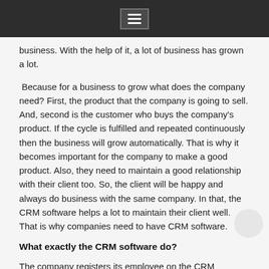[menu icon]
business. With the help of it, a lot of business has grown a lot.
Because for a business to grow what does the company need? First, the product that the company is going to sell. And, second is the customer who buys the company's product. If the cycle is fulfilled and repeated continuously then the business will grow automatically. That is why it becomes important for the company to make a good product. Also, they need to maintain a good relationship with their client too. So, the client will be happy and always do business with the same company. In that, the CRM software helps a lot to maintain their client well. That is why companies need to have CRM software.
What exactly the CRM software do?
The company registers its employee on the CRM software.